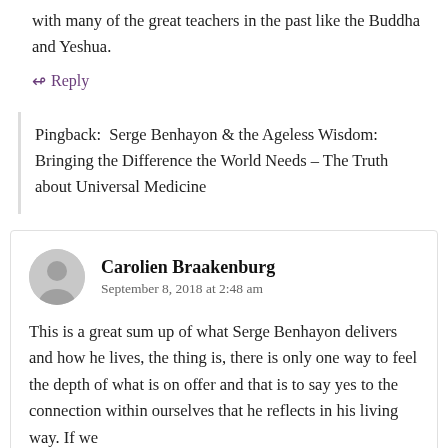with many of the great teachers in the past like the Buddha and Yeshua.
↳ Reply
Pingback: Serge Benhayon & the Ageless Wisdom: Bringing the Difference the World Needs – The Truth about Universal Medicine
Carolien Braakenburg
September 8, 2018 at 2:48 am
This is a great sum up of what Serge Benhayon delivers and how he lives, the thing is, there is only one way to feel the depth of what is on offer and that is to say yes to the connection within ourselves that he reflects in his living way. If we